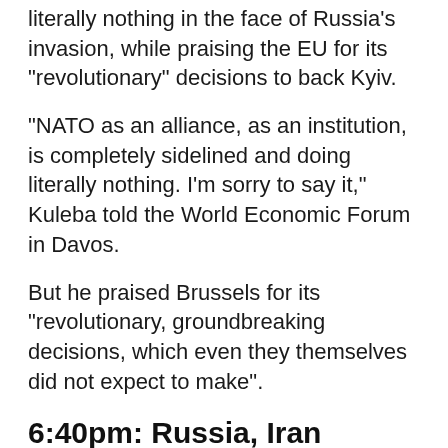literally nothing in the face of Russia's invasion, while praising the EU for its "revolutionary" decisions to back Kyiv.
"NATO as an alliance, as an institution, is completely sidelined and doing literally nothing. I'm sorry to say it," Kuleba told the World Economic Forum in Davos.
But he praised Brussels for its "revolutionary, groundbreaking decisions, which even they themselves did not expect to make".
6:40pm: Russia, Iran discuss swapping supplies